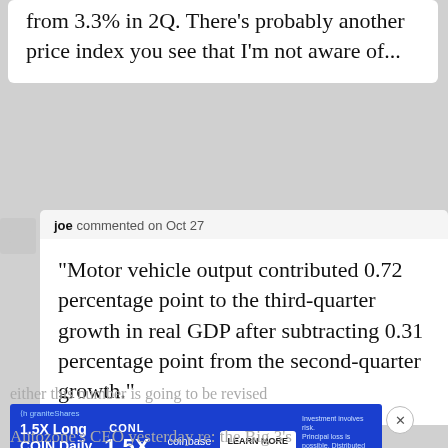from 3.3% in 2Q. There's probably another price index you see that I'm not aware of...
joe commented on Oct 27
“Motor vehicle output contributed 0.72 percentage point to the third-quarter growth in real GDP after subtracting 0.31 percentage point from the second-quarter growth.”
either this number is going to be revised
[Figure (other): Advertisement banner: GraniteShares 1.5X Long COIN Daily ETF, CONL, 1.5X, coinbase, LEARN MORE button]
Autozone’s CEO yesterday re: the Big 3’s